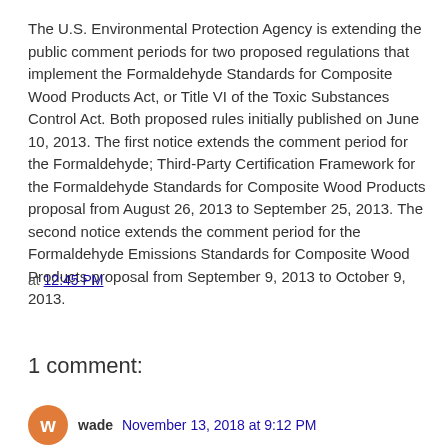The U.S. Environmental Protection Agency is extending the public comment periods for two proposed regulations that implement the Formaldehyde Standards for Composite Wood Products Act, or Title VI of the Toxic Substances Control Act. Both proposed rules initially published on June 10, 2013. The first notice extends the comment period for the Formaldehyde; Third-Party Certification Framework for the Formaldehyde Standards for Composite Wood Products proposal from August 26, 2013 to September 25, 2013. The second notice extends the comment period for the Formaldehyde Emissions Standards for Composite Wood Products proposal from September 9, 2013 to October 9, 2013.
at 12:45 PM
Share
1 comment:
wade November 13, 2018 at 9:12 PM